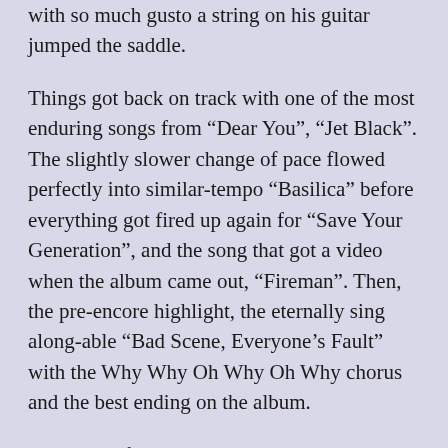with so much gusto a string on his guitar jumped the saddle.
Things got back on track with one of the most enduring songs from “Dear You”, “Jet Black”. The slightly slower change of pace flowed perfectly into similar-tempo “Basilica” before everything got fired up again for “Save Your Generation”, and the song that got a video when the album came out, “Fireman”. Then, the pre-encore highlight, the eternally sing along-able “Bad Scene, Everyone’s Fault” with the Why Why Oh Why Oh Why chorus and the best ending on the album.
As Adam Pfahler pounded away on the drums, sometimes with a look of total concentration and sometimes with a huge smile on his face, face-masked Bauermeister chugged out basslines on the left and Schawrzenbach growled and guitared on the right, with the extra touring guitarist behind him, and we’d have to say that it was like with